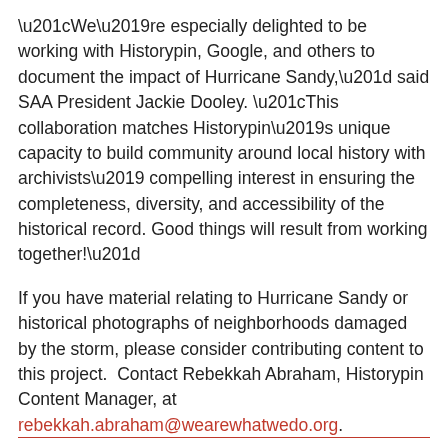“We’re especially delighted to be working with Historypin, Google, and others to document the impact of Hurricane Sandy,” said SAA President Jackie Dooley. “This collaboration matches Historypin’s unique capacity to build community around local history with archivists’ compelling interest in ensuring the completeness, diversity, and accessibility of the historical record. Good things will result from working together!”
If you have material relating to Hurricane Sandy or historical photographs of neighborhoods damaged by the storm, please consider contributing content to this project. Contact Rebekkah Abraham, Historypin Content Manager, at rebekkah.abraham@wearewhatwedo.org.